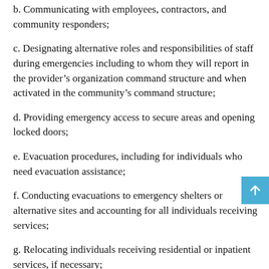b. Communicating with employees, contractors, and community responders;
c. Designating alternative roles and responsibilities of staff during emergencies including to whom they will report in the provider's organization command structure and when activated in the community's command structure;
d. Providing emergency access to secure areas and opening locked doors;
e. Evacuation procedures, including for individuals who need evacuation assistance;
f. Conducting evacuations to emergency shelters or alternative sites and accounting for all individuals receiving services;
g. Relocating individuals receiving residential or inpatient services, if necessary;
h. Notifying family members or other authorized...